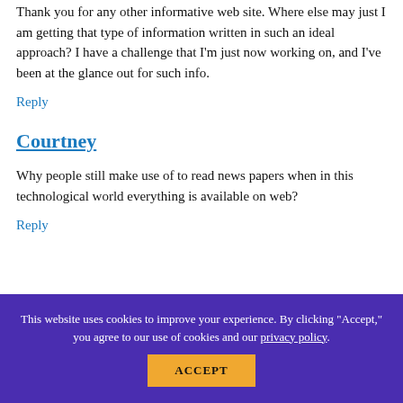Thank you for any other informative web site. Where else may just I am getting that type of information written in such an ideal approach? I have a challenge that I'm just now working on, and I've been at the glance out for such info.
Reply
Courtney
Why people still make use of to read news papers when in this technological world everything is available on web?
Reply
This website uses cookies to improve your experience. By clicking "Accept," you agree to our use of cookies and our privacy policy.